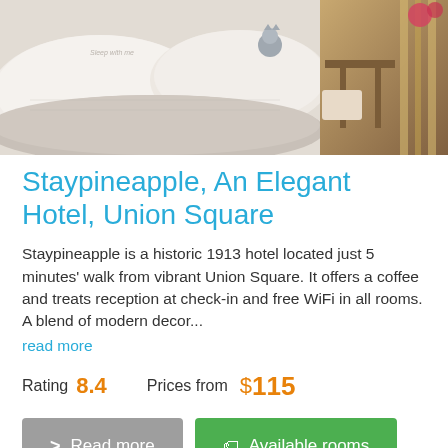[Figure (photo): Hotel room photo showing a neatly made white bed with fluffy pillows and a textured blanket, a small stuffed animal husky dog on the pillow, and a side area with wooden furniture and curtains.]
Staypineapple, An Elegant Hotel, Union Square
Staypineapple is a historic 1913 hotel located just 5 minutes' walk from vibrant Union Square. It offers a coffee and treats reception at check-in and free WiFi in all rooms. A blend of modern decor...
read more
Rating 8.4    Prices from $115
> Read more    Available rooms